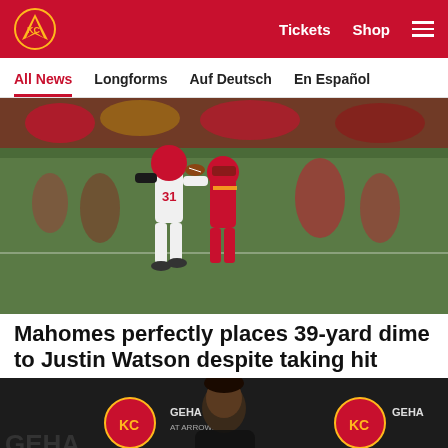Kansas City Chiefs – Tickets  Shop  [menu]
All News  Longforms  Auf Deutsch  En Español
[Figure (photo): Football action shot: Kansas City Chiefs player #31 in white uniform making a play against opponents in red uniforms on the field]
Mahomes perfectly places 39-yard dime to Justin Watson despite taking hit
[Figure (photo): Press conference photo: Patrick Mahomes at a GEHA Field at Arrowhead Stadium backdrop with Kansas City Chiefs logos]
Social share icons: Facebook, Twitter, Email, Link